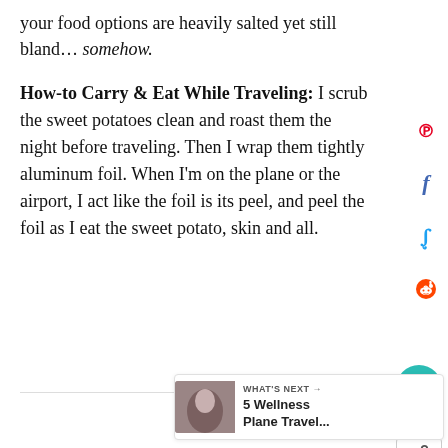your food options are heavily salted yet still bland… somehow.
How-to Carry & Eat While Traveling: I scrub the sweet potatoes clean and roast them the night before traveling. Then I wrap them tightly aluminum foil. When I'm on the plane or the airport, I act like the foil is its peel, and peel the foil as I eat the sweet potato, skin and all.